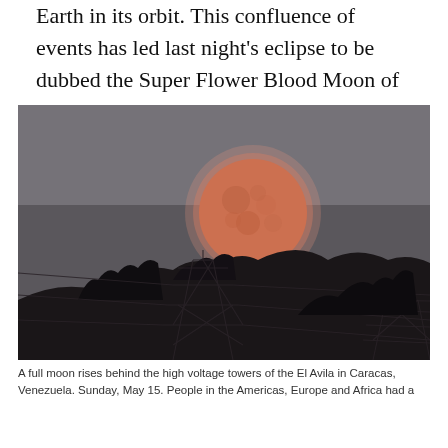Earth in its orbit. This confluence of events has led last night's eclipse to be dubbed the Super Flower Blood Moon of May 2022.
[Figure (photo): A large reddish-orange full moon rising behind high voltage electricity transmission towers silhouetted against a dark grey sky, with dark hillside vegetation in the foreground. Photo taken in Caracas, Venezuela.]
A full moon rises behind the high voltage towers of the El Avila in Caracas, Venezuela. Sunday, May 15. People in the Americas, Europe and Africa had a